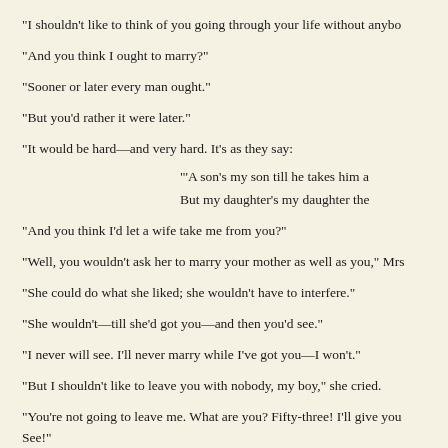"I shouldn't like to think of you going through your life without anybo
"And you think I ought to marry?"
"Sooner or later every man ought."
"But you'd rather it were later."
"It would be hard—and very hard. It's as they say:
'A son's my son till he takes him a
But my daughter's my daughter the
"And you think I'd let a wife take me from you?"
"Well, you wouldn't ask her to marry your mother as well as you," Mrs
"She could do what she liked; she wouldn't have to interfere."
"She wouldn't—till she'd got you—and then you'd see."
"I never will see. I'll never marry while I've got you—I won't."
"But I shouldn't like to leave you with nobody, my boy," she cried.
"You're not going to leave me. What are you? Fifty-three! I'll give you See!"
His mother sat and laughed.